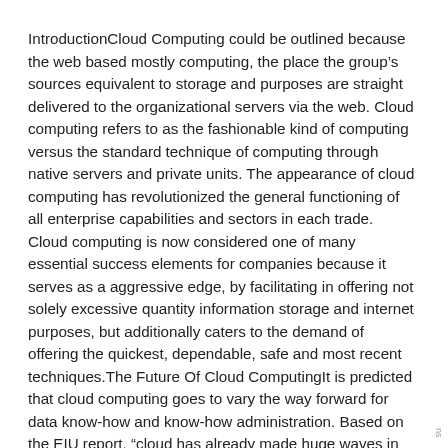IntroductionCloud Computing could be outlined because the web based mostly computing, the place the group's sources equivalent to storage and purposes are straight delivered to the organizational servers via the web. Cloud computing refers to as the fashionable kind of computing versus the standard technique of computing through native servers and private units. The appearance of cloud computing has revolutionized the general functioning of all enterprise capabilities and sectors in each trade. Cloud computing is now considered one of many essential success elements for companies because it serves as a aggressive edge, by facilitating in offering not solely excessive quantity information storage and internet purposes, but additionally caters to the demand of offering the quickest, dependable, safe and most recent techniques.The Future Of Cloud ComputingIt is predicted that cloud computing goes to vary the way forward for data know-how and know-how administration. Based on the EIU report, "cloud has already made huge waves in IT, with consumer cloud services, such as Google Drive and Dropbox, changing how people use digital
ns